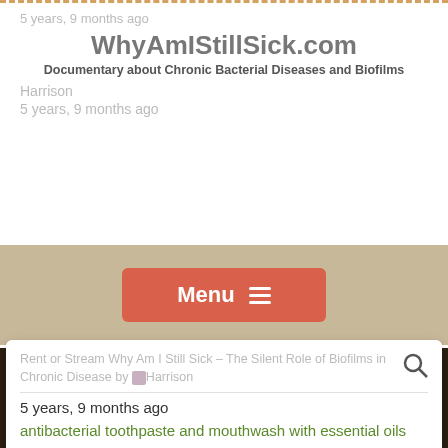5 years, 9 months ago
WhyAmIStillSick.com
Documentary about Chronic Bacterial Diseases and Biofilms
Harrison
5 years, 9 months ago
[Figure (screenshot): Menu button with hamburger icon on tan/beige background]
Rent or Stream Why Am I Still Sick – The Silent Role of Biofilms in Chronic Disease by Harrison
5 years, 9 months ago
antibacterial toothpaste and mouthwash with essential oils work better by Harrison
7 years, 6 months ago
CATEGORIES
Biofilms (42)